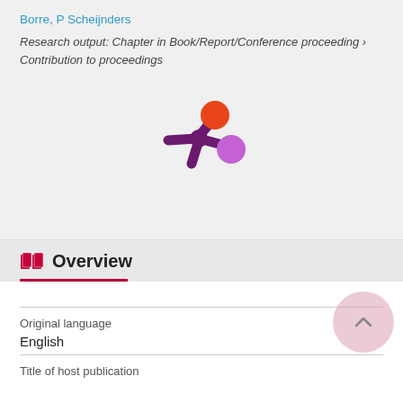Borre, P Scheijnders
Research output: Chapter in Book/Report/Conference proceeding › Contribution to proceedings
[Figure (logo): Pure research portal logo — stylized asterisk/molecule shape with orange and purple circles]
Overview
Original language
English
Title of host publication